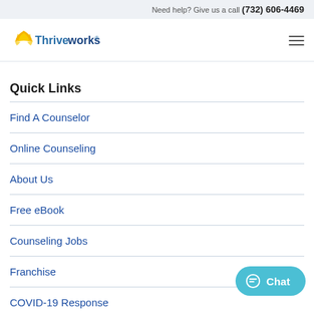Need help? Give us a call (732) 606-4469
[Figure (logo): Thriveworks logo with yellow sunburst and blue text]
Quick Links
Find A Counselor
Online Counseling
About Us
Free eBook
Counseling Jobs
Franchise
COVID-19 Response